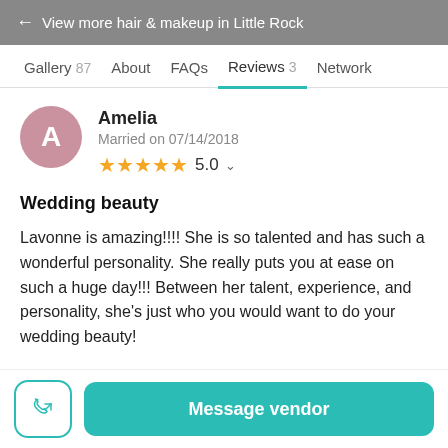← View more hair & makeup in Little Rock
Gallery 87   About   FAQs   Reviews 3   Network
Amelia
Married on 07/14/2018
★★★★★ 5.0
Wedding beauty
Lavonne is amazing!!!! She is so talented and has such a wonderful personality. She really puts you at ease on such a huge day!!! Between her talent, experience, and personality, she's just who you would want to do your wedding beauty!
Message vendor